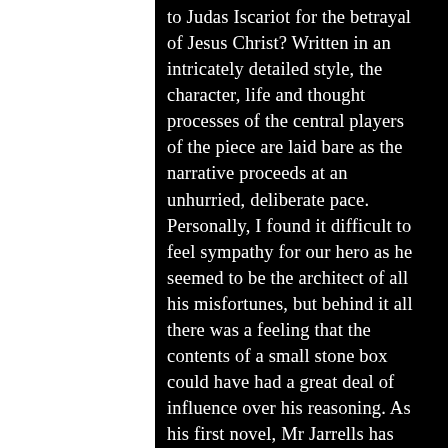to Judas Iscariot for the betrayal of Jesus Christ? Written in an intricately detailed style, the character, life and thought processes of the central players of the piece are laid bare as the narrative proceeds at an unhurried, deliberate pace. Personally, I found it difficult to feel sympathy for our hero as he seemed to be the architect of all his misfortunes, but behind it all there was a feeling that the contents of a small stone box could have had a great deal of influence over his reasoning. As his first novel, Mr Jarrells has chosen a truly original theme to launch his career as an author, producing a complex multi-layered plot of surprising quality. Excellent work from a new author who is sure to find further success in the